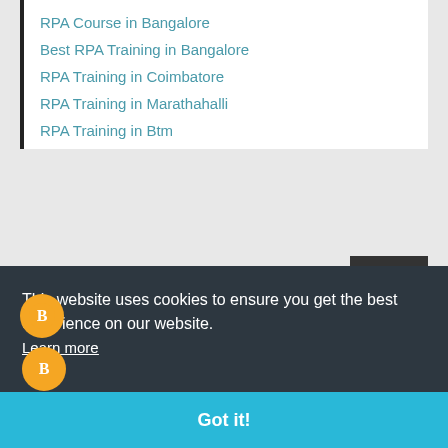RPA Course in Bangalore
Best RPA Training in Bangalore
RPA Training in Coimbatore
RPA Training in Marathahalli
RPA Training in Btm
Reply
suresh  November 11, 2019 at 11:30 PM
This website uses cookies to ensure you get the best experience on our website. Learn more
Got it!